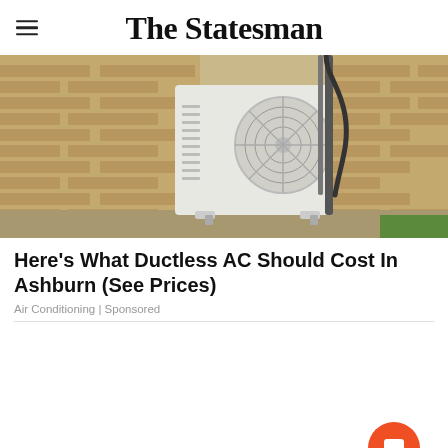The Statesman
[Figure (photo): Outdoor ductless mini-split AC unit mounted on a brick wall with refrigerant lines running up the wall, green grass visible in the corner]
Here's What Ductless AC Should Cost In Ashburn (See Prices)
Air Conditioning | Sponsored